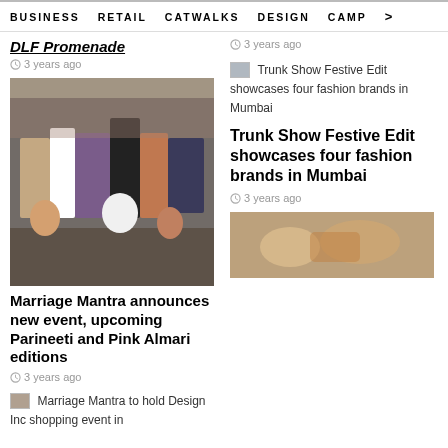BUSINESS   RETAIL   CATWALKS   DESIGN   CAMP >
DLF Promenade
3 years ago
[Figure (photo): Crowded indoor fashion retail event with people browsing stalls]
Marriage Mantra announces new event, upcoming Parineeti and Pink Almari editions
3 years ago
[Figure (photo): Thumbnail image for Marriage Mantra to hold Design Inc shopping event]
Marriage Mantra to hold Design Inc shopping event in
3 years ago
[Figure (photo): Thumbnail for Trunk Show Festive Edit showcases four fashion brands in Mumbai]
Trunk Show Festive Edit showcases four fashion brands in Mumbai
3 years ago
[Figure (photo): Bottom right image of fashion items]